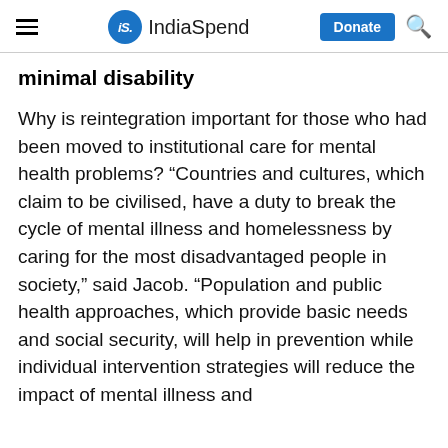iS. IndiaSpend  Donate  🔍
minimal disability
Why is reintegration important for those who had been moved to institutional care for mental health problems? “Countries and cultures, which claim to be civilised, have a duty to break the cycle of mental illness and homelessness by caring for the most disadvantaged people in society,” said Jacob. “Population and public health approaches, which provide basic needs and social security, will help in prevention while individual intervention strategies will reduce the impact of mental illness and